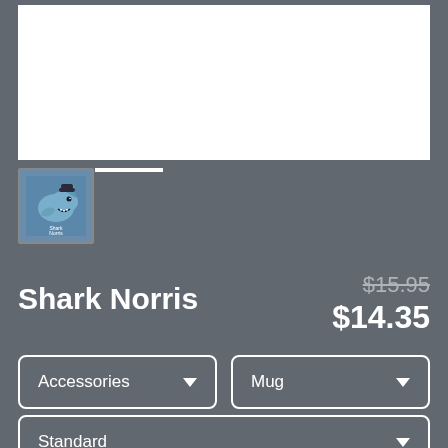[Figure (photo): White product image display area (blank/empty product preview)]
[Figure (illustration): Shark Norris cartoon shark thumbnail image with blue background]
Shark Norris
$15.95 (strikethrough original price)
$14.35 (sale price)
Accessories (dropdown)
Mug (dropdown)
Standard (dropdown)